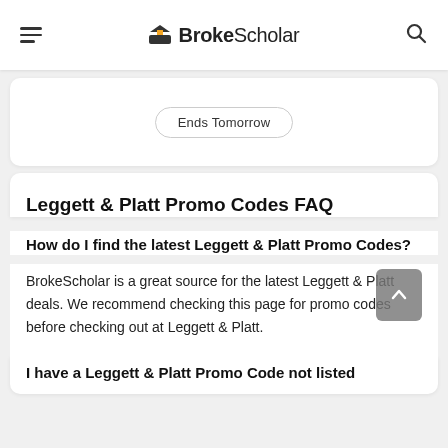BrokeScholar
Ends Tomorrow
Leggett & Platt Promo Codes FAQ
How do I find the latest Leggett & Platt Promo Codes?
BrokeScholar is a great source for the latest Leggett & Platt deals. We recommend checking this page for promo codes before checking out at Leggett & Platt.
I have a Leggett & Platt Promo Code not listed